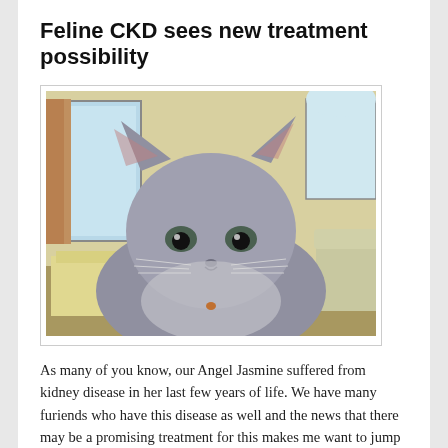Feline CKD sees new treatment possibility
[Figure (photo): A gray/blue short-haired cat looking directly at the camera, sitting in an indoor living room setting with furniture, curtains, and windows visible in the background.]
As many of you know, our Angel Jasmine suffered from kidney disease in her last few years of life. We have many furiends who have this disease as well and the news that there may be a promising treatment for this makes me want to jump up and yell “WHOOPEE!”
The article I found said that, a novel cell-derived molecular